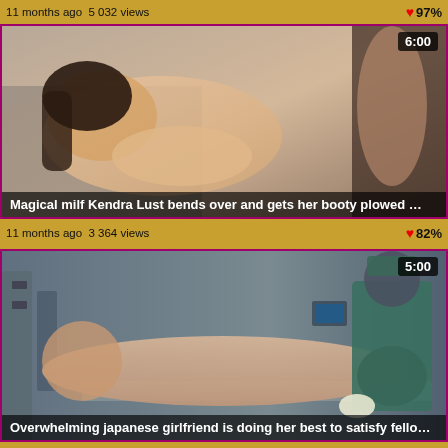11 months ago  5 032 views    ♥97%
[Figure (photo): Video thumbnail showing adult content - Magical milf Kendra Lust bends over and gets her booty plowed, duration 6:00, Brazzers branding]
11 months ago  3 364 views    ♥82%
[Figure (photo): Video thumbnail showing adult content - Overwhelming japanese girlfriend is doing her best to satisfy fellow with her booty and ..., duration 5:00]
11 months ago  4 668 views    ♥90%